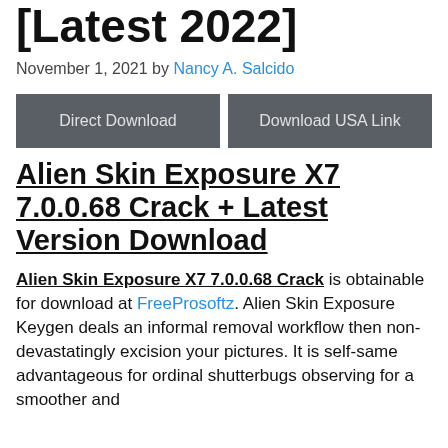[Latest 2022]
November 1, 2021 by Nancy A. Salcido
[Figure (other): Two download buttons: 'Direct Download' and 'Download USA Link']
Alien Skin Exposure X7 7.0.0.68 Crack + Latest Version Download
Alien Skin Exposure X7 7.0.0.68 Crack is obtainable for download at FreeProsoftz. Alien Skin Exposure Keygen deals an informal removal workflow then non-devastatingly excision your pictures. It is self-same advantageous for ordinal shutterbugs observing for a smoother and